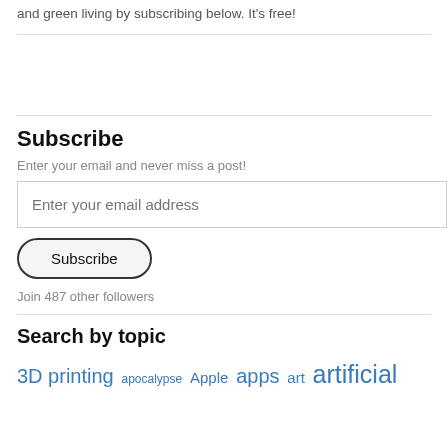and green living by subscribing below. It's free!
Subscribe
Enter your email and never miss a post!
[Figure (screenshot): Email input field with placeholder text 'Enter your email address']
[Figure (screenshot): Subscribe button with rounded border]
Join 487 other followers
Search by topic
3D printing apocalypse Apple apps art artificial